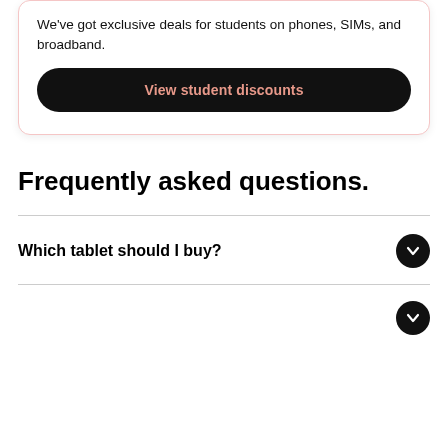We've got exclusive deals for students on phones, SIMs, and broadband.
View student discounts
Frequently asked questions.
Which tablet should I buy?